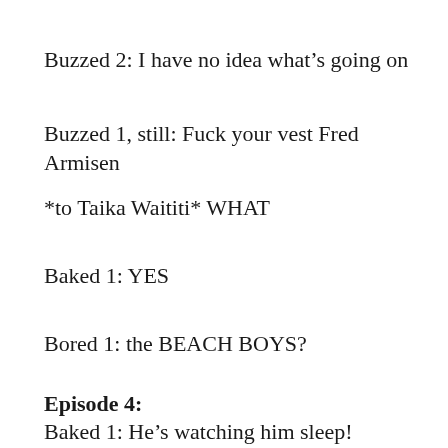Buzzed 2: I have no idea what's going on
Buzzed 1, still: Fuck your vest Fred Armisen
*to Taika Waititi* WHAT
Baked 1: YES
Bored 1: the BEACH BOYS?
Episode 4:
Baked 1: He's watching him sleep!